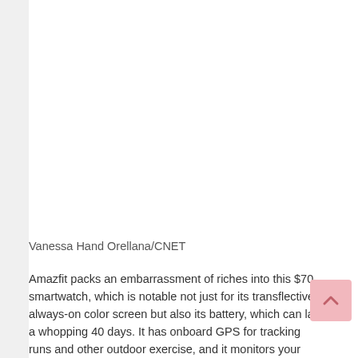[Figure (photo): White/blank image area at top of page (image cropped/not visible)]
Vanessa Hand Orellana/CNET
Amazfit packs an embarrassment of riches into this $70 smartwatch, which is notable not just for its transflective, always-on color screen but also its battery, which can last a whopping 40 days. It has onboard GPS for tracking runs and other outdoor exercise, and it monitors your heart rate all day. Because this is a smartwatch that also has fitness features, it makes a better gift than a fitness band — which might be seen as untactful and land you in hot water.
Now for the bad news: Amazfit is completely sold out of the Bip S right now, and Amazon has no stock either. Hopefully there's more coming soon; in the meantime,